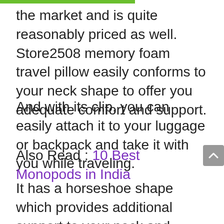the market and is quite reasonably priced as well. Store2508 memory foam travel pillow easily conforms to your neck shape to offer you adequate comfort and support.
And with its clip, you can easily attach it to your luggage or backpack and take it with you while traveling.
Also Read : 10 Best Monopods in India
It has a horseshoe shape which provides additional support to your neck and shoulder muscles and since it is